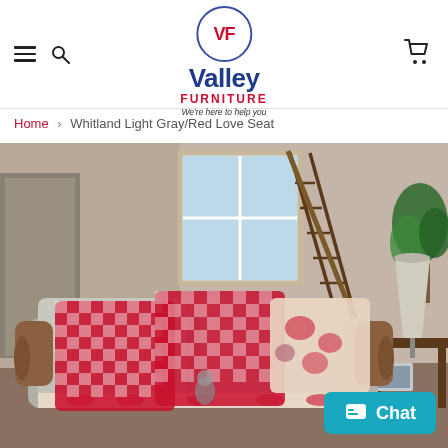[Figure (logo): Valley Furniture logo with VF in circle, blue Valley text, red FURNITURE text, tagline 'We're here to help you']
Home > Whitland Light Gray/Red Love Seat
[Figure (photo): Whitland Light Gray/Red Love Seat in a living room setting with red checkered and floral pillows, near a staircase and window, side table with lamp]
Chat